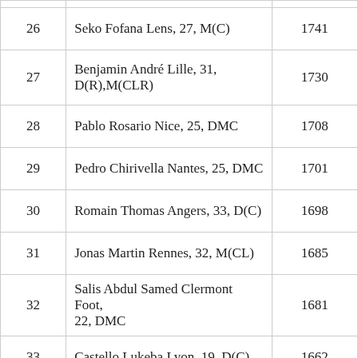| Rank | Player | Score |
| --- | --- | --- |
| 26 | Seko Fofana Lens, 27, M(C) | 1741 |
| 27 | Benjamin André Lille, 31, D(R),M(CLR) | 1730 |
| 28 | Pablo Rosario Nice, 25, DMC | 1708 |
| 29 | Pedro Chirivella Nantes, 25, DMC | 1701 |
| 30 | Romain Thomas Angers, 33, D(C) | 1698 |
| 31 | Jonas Martin Rennes, 32, M(CL) | 1685 |
| 32 | Salis Abdul Samed Clermont Foot, 22, DMC | 1681 |
| 33 | Castello Lukeba Lyon, 19, D(C) | 1662 |
| 34 | Andrei Girotto Nantes, 30, D(C),DMC | 1656 |
| 35 | Alexander Djiku Strasbourg, 27 | 1622 |